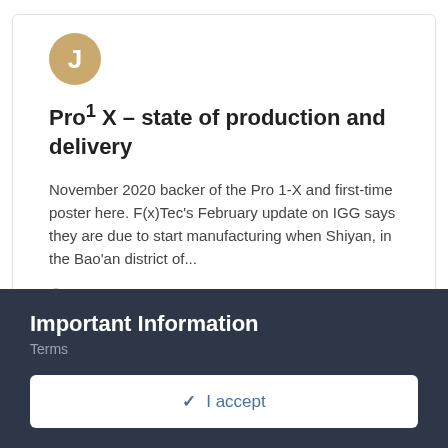[Figure (illustration): Gold/tan circular avatar with white letter J]
Pro¹ X – state of production and delivery
November 2020 backer of the Pro 1-X and first-time poster here. F(x)Tec's February update on IGG says they are due to start manufacturing when Shiyan, in the Bao'an district of...
February 22
↑ 7
POINTS
Important Information
Terms
✓ I accept